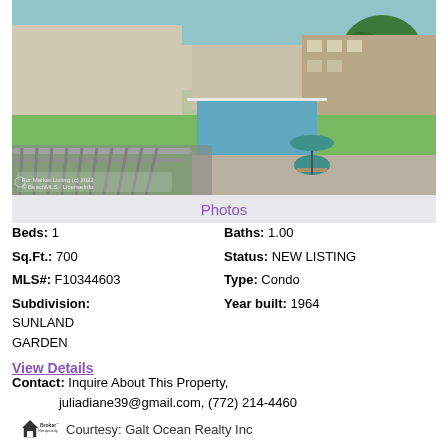[Figure (photo): Balcony/corridor view overlooking a pool area with green lawn, picnic table with teal umbrella, and residential buildings in background. Railing visible in foreground.]
Photos
Beds: 1   Baths: 1.00
Sq.Ft.: 700   Status: NEW LISTING
MLS#: F10344603   Type: Condo
Subdivision: SUNLAND GARDEN   Year built: 1964
View Details
Contact: Inquire About This Property, juliadiane39@gmail.com, (772) 214-4460
Courtesy: Galt Ocean Realty Inc